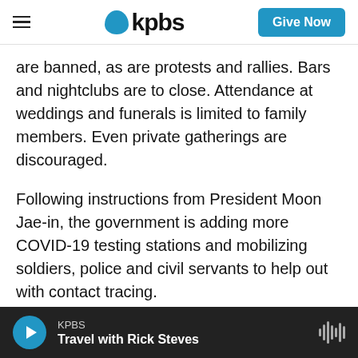KPBS — Give Now
are banned, as are protests and rallies. Bars and nightclubs are to close. Attendance at weddings and funerals is limited to family members. Even private gatherings are discouraged.
Following instructions from President Moon Jae-in, the government is adding more COVID-19 testing stations and mobilizing soldiers, police and civil servants to help out with contact tracing.
Vaccinations in South Korea still lag behind other developed economies with only about 11% of the population fully vaccinated.
KPBS | Travel with Rick Steves